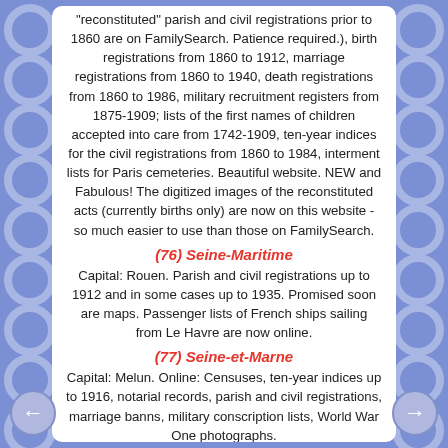"reconstituted" parish and civil registrations prior to 1860 are on FamilySearch. Patience required.), birth registrations from 1860 to 1912, marriage registrations from 1860 to 1940, death registrations from 1860 to 1986, military recruitment registers from 1875-1909; lists of the first names of children accepted into care from 1742-1909, ten-year indices for the civil registrations from 1860 to 1984, interment lists for Paris cemeteries. Beautiful website. NEW and Fabulous! The digitized images of the reconstituted acts (currently births only) are now on this website - so much easier to use than those on FamilySearch.
(76) Seine-Maritime
Capital: Rouen. Parish and civil registrations up to 1912 and in some cases up to 1935. Promised soon are maps. Passenger lists of French ships sailing from Le Havre are now online.
(77) Seine-et-Marne
Capital: Melun. Online: Censuses, ten-year indices up to 1916, notarial records, parish and civil registrations, marriage banns, military conscription lists, World War One photographs.
(78) Yvelines and the old Seine et Oise
Capital: Versailles. Online: ten-year indices, parish and civil registrations to 1912 (to 1937 for some towns), military recruitment lists, censuses, land records, cahiers de